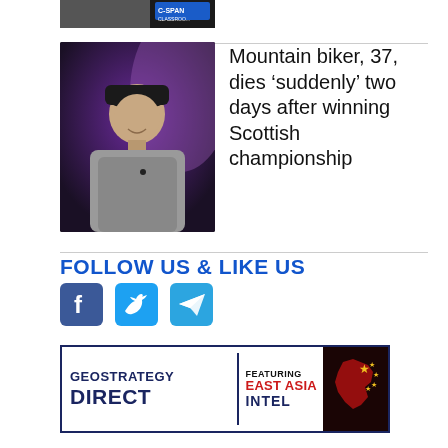[Figure (photo): Partial top image showing a person, with a C-SPAN logo visible in the top right corner]
[Figure (photo): Man wearing a dark baseball cap and grey t-shirt, smiling, photographed against a dark purple/blue background]
Mountain biker, 37, dies ‘suddenly’ two days after winning Scottish championship
FOLLOW US & LIKE US
[Figure (infographic): Social media icons: Facebook (blue square with f), Twitter (light blue square with bird), Telegram (light blue square with paper plane)]
[Figure (logo): Geostrategy Direct advertisement banner featuring East Asia Intel, with a dark background image of a red map figure with gold stars]
Xi assured Biden; China then escalated intimidation exercises